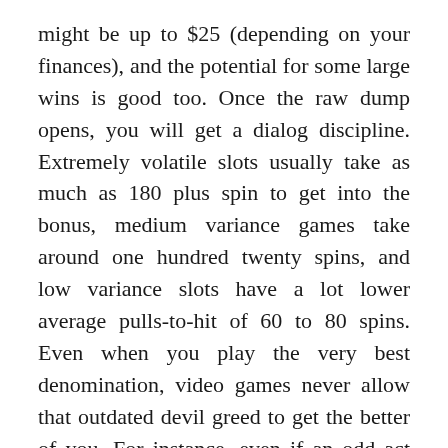might be up to $25 (depending on your finances), and the potential for some large wins is good too. Once the raw dump opens, you will get a dialog discipline. Extremely volatile slots usually take as much as 180 plus spin to get into the bonus, medium variance games take around one hundred twenty spins, and low variance slots have a lot lower average pulls-to-hit of 60 to 80 spins. Even when you play the very best denomination, video games never allow that outdated devil greed to get the better of you. For instance, even if an odd act drops twice in a row, it does not mean that the odd number volition drop on the next spin.
Whereas near the airport, you will also get pleasure from proximity to purchasing, pubs, eating places, and nightlife. Chances are you will find that your experience...